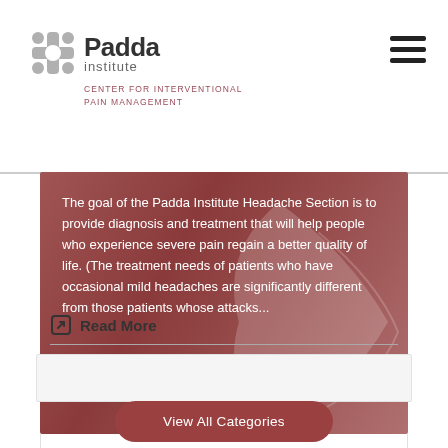[Figure (logo): Padda Institute logo with cross/fleur icon and subtitle 'Center for Interventional Pain Management']
[Figure (photo): Reddish-brown overlay image (person with headache) with white text excerpt about Padda Institute Headache Section goal]
The goal of the Padda Institute Headache Section is to provide diagnosis and treatment that will help people who experience severe pain regain a better quality of life. (The treatment needs of patients who have occasional mild headaches are significantly different from those patients whose attacks...
Read More
View All Categories